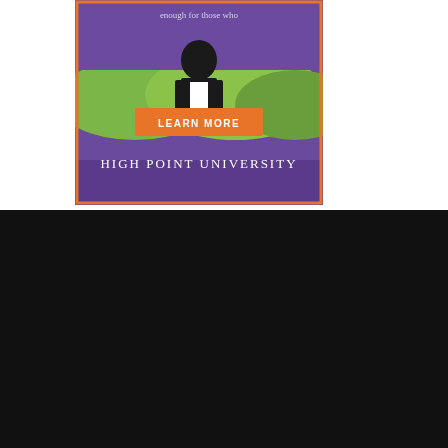[Figure (photo): High Point University advertisement banner showing a man in a suit presenting against a purple background with rolling hills, featuring an orange 'LEARN MORE' button and 'HIGH POINT UNIVERSITY' text at the bottom.]
COPYRIGHT © 2017 MUCH ADO ABOUT FOODING.
[Figure (infographic): Row of five circular social media icon buttons on dark background: Twitter, Facebook, Instagram, Google+, Pinterest]